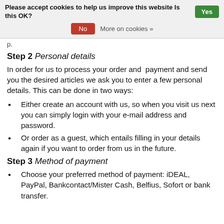Please accept cookies to help us improve this website Is this OK? Yes No More on cookies »
Step 2 Personal details
In order for us to process your order and payment and send you the desired articles we ask you to enter a few personal details. This can be done in two ways:
Either create an account with us, so when you visit us next you can simply login with your e-mail address and password.
Or order as a guest, which entails filling in your details again if you want to order from us in the future.
Step 3 Method of payment
Choose your preferred method of payment: iDEAL, PayPal, Bankcontact/Mister Cash, Belfius, Sofort or bank transfer.